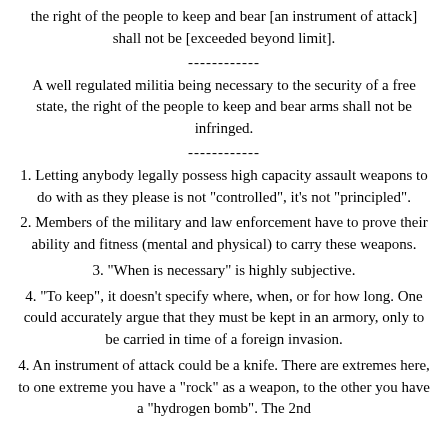the right of the people to keep and bear [an instrument of attack] shall not be [exceeded beyond limit].
------------
A well regulated militia being necessary to the security of a free state, the right of the people to keep and bear arms shall not be infringed.
------------
1. Letting anybody legally possess high capacity assault weapons to do with as they please is not "controlled", it's not "principled".
2. Members of the military and law enforcement have to prove their ability and fitness (mental and physical) to carry these weapons.
3. "When is necessary" is highly subjective.
4. "To keep", it doesn't specify where, when, or for how long. One could accurately argue that they must be kept in an armory, only to be carried in time of a foreign invasion.
4. An instrument of attack could be a knife. There are extremes here, to one extreme you have a "rock" as a weapon, to the other you have a "hydrogen bomb". The 2nd